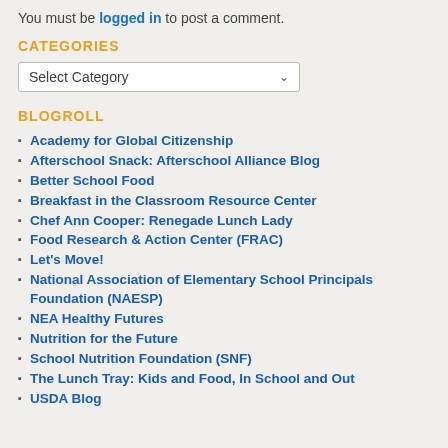You must be logged in to post a comment.
CATEGORIES
Select Category
BLOGROLL
Academy for Global Citizenship
Afterschool Snack: Afterschool Alliance Blog
Better School Food
Breakfast in the Classroom Resource Center
Chef Ann Cooper: Renegade Lunch Lady
Food Research & Action Center (FRAC)
Let's Move!
National Association of Elementary School Principals Foundation (NAESP)
NEA Healthy Futures
Nutrition for the Future
School Nutrition Foundation (SNF)
The Lunch Tray: Kids and Food, In School and Out
USDA Blog